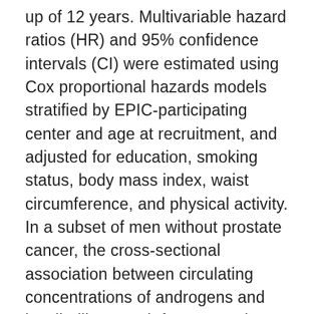up of 12 years. Multivariable hazard ratios (HR) and 95% confidence intervals (CI) were estimated using Cox proportional hazards models stratified by EPIC-participating center and age at recruitment, and adjusted for education, smoking status, body mass index, waist circumference, and physical activity. In a subset of men without prostate cancer, the cross-sectional association between circulating concentrations of androgens and insulin-like growth factor proteins with diabetes status was also investigated using linear regression models. Compared to men with no diabetes, men with diabetes had a 26% lower risk of prostate cancer (HR, 0.74; 95% CI, 0.63-0.86). There was no evidence that the association differed by stage (p-heterogeneity, 0.19) or grade (p-heterogeneity, 0.48) of the disease, although the numbers were small in some disease subgroups. In a subset of 626 men with hormone measurements